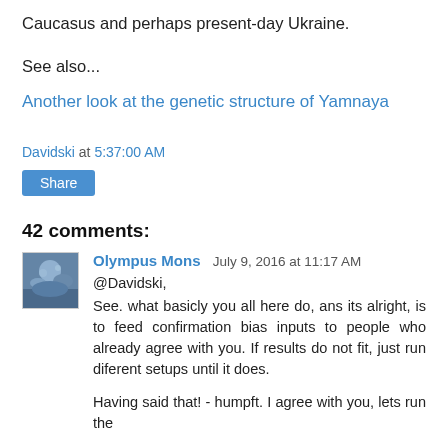Caucasus and perhaps present-day Ukraine.
See also...
Another look at the genetic structure of Yamnaya
Davidski at 5:37:00 AM
Share
42 comments:
Olympus Mons  July 9, 2016 at 11:17 AM
@Davidski,
See. what basicly you all here do, ans its alright, is to feed confirmation bias inputs to people who already agree with you. If results do not fit, just run diferent setups until it does.

Having said that! - humpft. I agree with you, lets run the